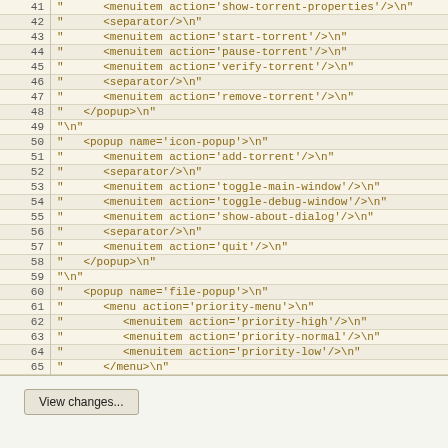| line | code |
| --- | --- |
| 41 | "      <menuitem action='show-torrent-properties'/>\n" |
| 42 | "      <separator/>\n" |
| 43 | "      <menuitem action='start-torrent'/>\n" |
| 44 | "      <menuitem action='pause-torrent'/>\n" |
| 45 | "      <menuitem action='verify-torrent'/>\n" |
| 46 | "      <separator/>\n" |
| 47 | "      <menuitem action='remove-torrent'/>\n" |
| 48 | "   </popup>\n" |
| 49 | "\n" |
| 50 | "   <popup name='icon-popup'>\n" |
| 51 | "      <menuitem action='add-torrent'/>\n" |
| 52 | "      <separator/>\n" |
| 53 | "      <menuitem action='toggle-main-window'/>\n" |
| 54 | "      <menuitem action='toggle-debug-window'/>\n" |
| 55 | "      <menuitem action='show-about-dialog'/>\n" |
| 56 | "      <separator/>\n" |
| 57 | "      <menuitem action='quit'/>\n" |
| 58 | "   </popup>\n" |
| 59 | "\n" |
| 60 | "   <popup name='file-popup'>\n" |
| 61 | "      <menu action='priority-menu'>\n" |
| 62 | "         <menuitem action='priority-high'/>\n" |
| 63 | "         <menuitem action='priority-normal'/>\n" |
| 64 | "         <menuitem action='priority-low'/>\n" |
| 65 | "      </menu>\n" |
| 66 | "   </popup>\n" |
| 67 | "\n" |
| 68 | "</ui>"; |
| 69 |  |
View changes...